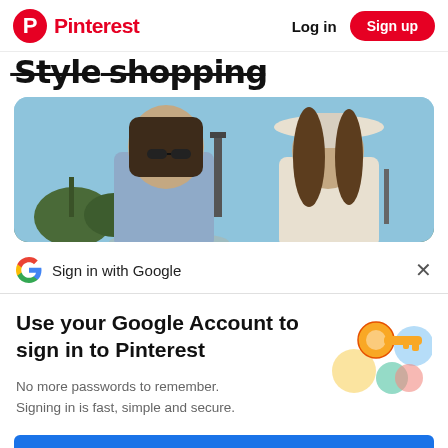Pinterest  Log in  Sign up
Sty...g
[Figure (photo): Two young women at what appears to be an outdoor festival (Coachella). Left woman wears sunglasses and a floral denim jacket. Right woman wears a white hat and white blouse. Blue sky and stage structures in background.]
Sign in with Google
Use your Google Account to sign in to Pinterest
No more passwords to remember.
Signing in is fast, simple and secure.
[Figure (illustration): Google account key icon illustration — a gold key surrounded by colorful circular shapes in blue, green, yellow, and pink/red, representing Google account security.]
Continue